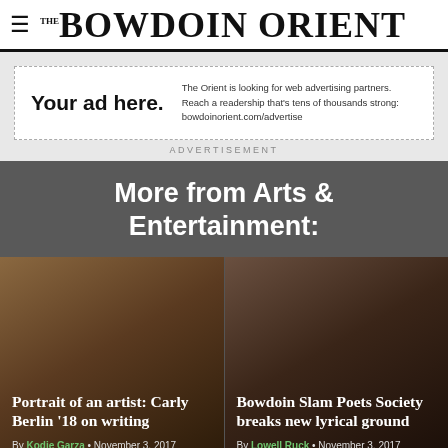THE BOWDOIN ORIENT
[Figure (other): Advertisement box: 'Your ad here.' The Orient is looking for web advertising partners. Reach a readership that's tens of thousands strong: bowdoinorient.com/advertise]
ADVERTISEMENT
More from Arts & Entertainment:
Portrait of an artist: Carly Berlin '18 on writing
By Kodie Garza • November 3, 2017
Bowdoin Slam Poets Society breaks new lyrical ground
By Lowell Ruck • November 3, 2017